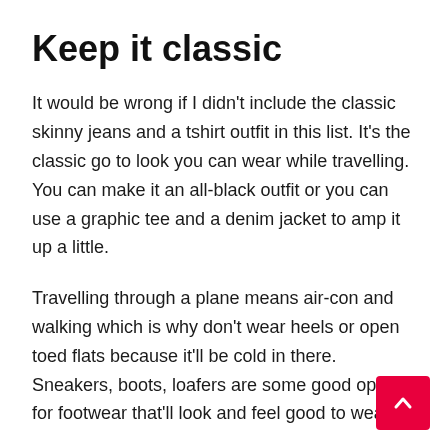Keep it classic
It would be wrong if I didn't include the classic skinny jeans and a tshirt outfit in this list. It's the classic go to look you can wear while travelling. You can make it an all-black outfit or you can use a graphic tee and a denim jacket to amp it up a little.
Travelling through a plane means air-con and walking which is why don't wear heels or open toed flats because it'll be cold in there. Sneakers, boots, loafers are some good options for footwear that'll look and feel good to wear.
Now that that you have these ideas for your